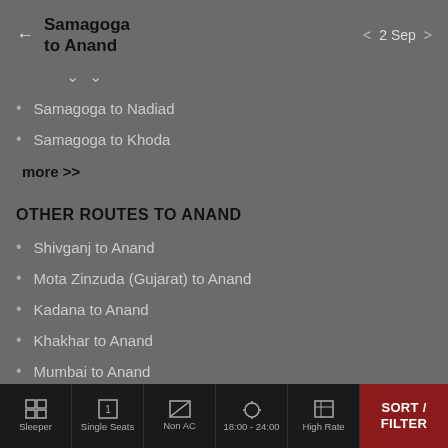Samagoga to Anand  |  2 Sep
Samagoga to Nadiad
Samagoga to Khoda
more >>
OTHER ROUTES TO ANAND
Shivganj to Anand
Mota Zinzuda (Gujarat) to Anand
Kadana to Anand
Khakhar to Anand
Mumbai to Anand
Sleeper  Single Seats  Non AC  18:00 - 24:00  High Rate  SORT / FILTER